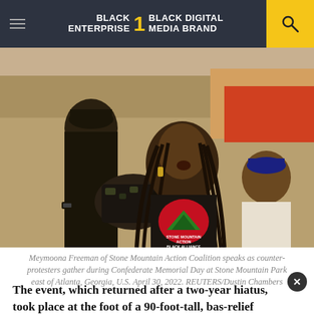BLACK ENTERPRISE THE #1 BLACK DIGITAL MEDIA BRAND
[Figure (photo): Meymoona Freeman of Stone Mountain Action Coalition speaks into a megaphone as counter-protesters gather during Confederate Memorial Day at Stone Mountain Park east of Atlanta, Georgia, U.S. April 30, 2022. She is wearing a Stone Mountain Action Black Alliance t-shirt. REUTERS/Dustin Chambers]
Meymoona Freeman of Stone Mountain Action Coalition speaks as counter-protesters gather during Confederate Memorial Day at Stone Mountain Park east of Atlanta, Georgia, U.S. April 30, 2022. REUTERS/Dustin Chambers
The event, which returned after a two-year hiatus, took place at the foot of a 90-foot-tall, bas-relief sculpture depicting three Confederate leaders on